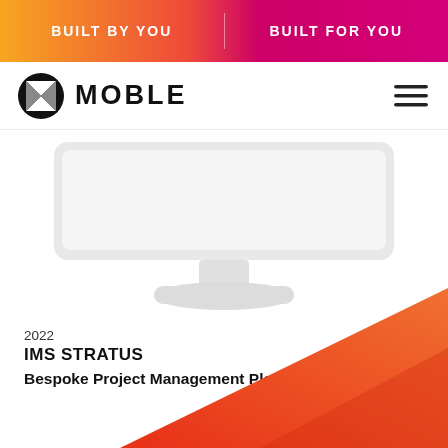BUILT BY YOU   BUILT FOR YOU
[Figure (logo): MOBLE logo with geometric black and white icon and bold text MOBLE, plus hamburger menu icon]
[Figure (illustration): White iMac-style desktop computer monitor mockup showing a blank screen, with stand]
2022
IMS STRATUS
Bespoke Project Management Platform
[Figure (illustration): Orange-red diagonal gradient decorative shape in bottom right corner]